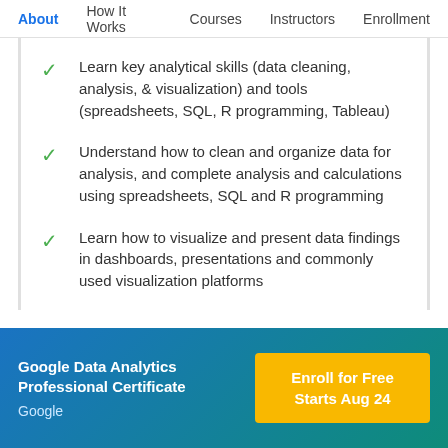About  How It Works  Courses  Instructors  Enrollment
Learn key analytical skills (data cleaning, analysis, & visualization) and tools (spreadsheets, SQL, R programming, Tableau)
Understand how to clean and organize data for analysis, and complete analysis and calculations using spreadsheets, SQL and R programming
Learn how to visualize and present data findings in dashboards, presentations and commonly used visualization platforms
Google Data Analytics Professional Certificate
Google
Enroll for Free
Starts Aug 24